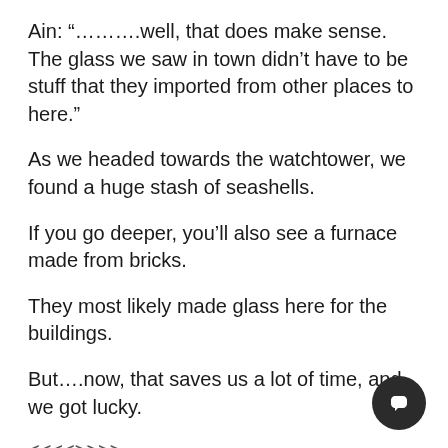Ain: “……….well, that does make sense.  The glass we saw in town didn’t have to be stuff that they imported from other places to here.”
As we headed towards the watchtower, we found a huge stash of seashells.
If you go deeper, you’ll also see a furnace made from bricks.
They most likely made glass here for the buildings.
But….now, that saves us a lot of time, and we got lucky.
<<<>>>>